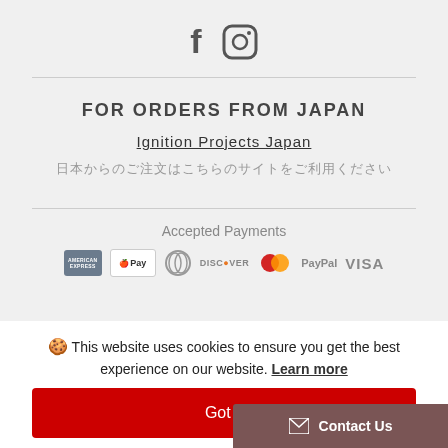[Figure (other): Social media icons: Facebook (f) and Instagram (circle with camera)]
FOR ORDERS FROM JAPAN
Ignition Projects Japan
日本からのご注文はこちらのサイトをご利用ください
Accepted Payments
[Figure (other): Payment icons: American Express, Apple Pay, Diners Club, Discover, Mastercard, PayPal, VISA]
🍪 This website uses cookies to ensure you get the best experience on our website. Learn more
Got it
✉ Contact Us